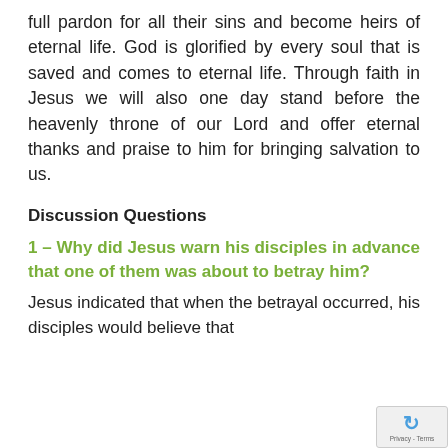full pardon for all their sins and become heirs of eternal life. God is glorified by every soul that is saved and comes to eternal life. Through faith in Jesus we will also one day stand before the heavenly throne of our Lord and offer eternal thanks and praise to him for bringing salvation to us.
Discussion Questions
1 – Why did Jesus warn his disciples in advance that one of them was about to betray him?
Jesus indicated that when the betrayal occurred, his disciples would believe that